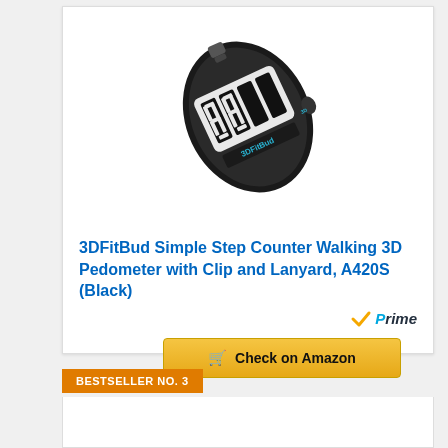[Figure (photo): 3DFitBud Simple Step Counter pedometer device, black oval-shaped with large digital display showing numbers, with a clip attachment, displayed at an angle]
3DFitBud Simple Step Counter Walking 3D Pedometer with Clip and Lanyard, A420S (Black)
[Figure (logo): Amazon Prime badge with orange checkmark and 'Prime' text]
[Figure (other): Check on Amazon button with shopping cart icon]
BESTSELLER NO. 3